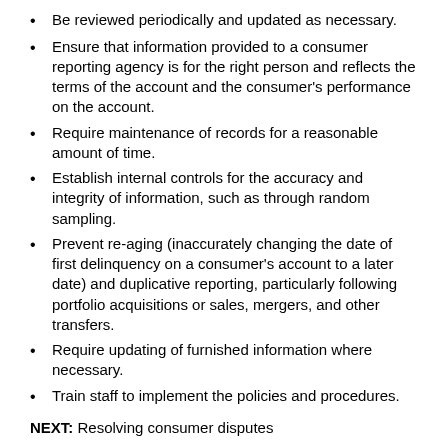Be reviewed periodically and updated as necessary.
Ensure that information provided to a consumer reporting agency is for the right person and reflects the terms of the account and the consumer's performance on the account.
Require maintenance of records for a reasonable amount of time.
Establish internal controls for the accuracy and integrity of information, such as through random sampling.
Prevent re-aging (inaccurately changing the date of first delinquency on a consumer's account to a later date) and duplicative reporting, particularly following portfolio acquisitions or sales, mergers, and other transfers.
Require updating of furnished information where necessary.
Train staff to implement the policies and procedures.
NEXT: Resolving consumer disputes
Resolving consumer disputes
Consumers may dispute information furnished by a credit union through the consumer reporting agency or directly with the credit